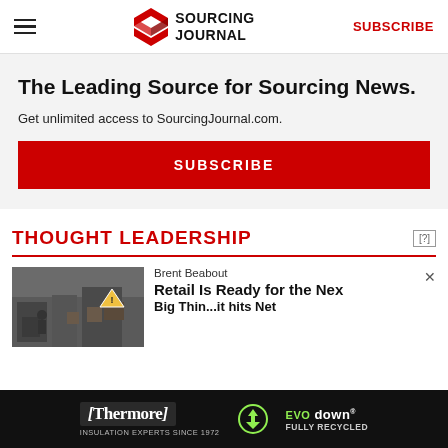SOURCING JOURNAL | SUBSCRIBE
The Leading Source for Sourcing News.
Get unlimited access to SourcingJournal.com.
SUBSCRIBE
THOUGHT LEADERSHIP
Brent Beabout
Retail Is Ready for the Nex Big Thin...it hits Net
[Figure (photo): Warehouse/logistics scene with workers and boxes]
[Figure (logo): Thermore Insulation Experts Since 1972 - EVO down FULLY RECYCLED advertisement banner]